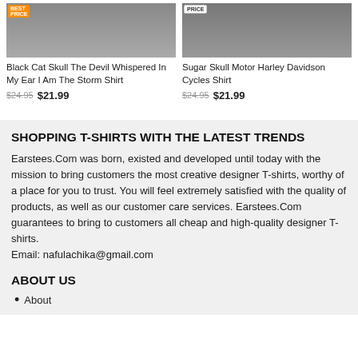Black Cat Skull The Devil Whispered In My Ear I Am The Storm Shirt $24.95 $21.99
Sugar Skull Motor Harley Davidson Cycles Shirt $24.95 $21.99
SHOPPING T-SHIRTS WITH THE LATEST TRENDS
Earstees.Com was born, existed and developed until today with the mission to bring customers the most creative designer T-shirts, worthy of a place for you to trust. You will feel extremely satisfied with the quality of products, as well as our customer care services. Earstees.Com guarantees to bring to customers all cheap and high-quality designer T-shirts.
Email: nafulachika@gmail.com
ABOUT US
About